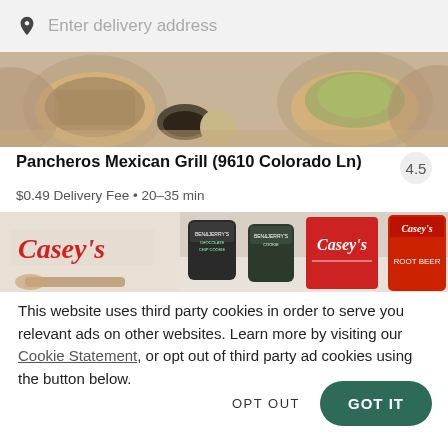Enter delivery address
[Figure (photo): Food bowls with Mexican-style dishes including tacos and salad bowls on a wooden table with chips]
Pancheros Mexican Grill (9610 Colorado Ln) 4.5
$0.49 Delivery Fee • 20–35 min
[Figure (photo): Casey's store advertisement showing Ben & Jerry's ice cream tubs and Casey's branded items including Root Beer]
This website uses third party cookies in order to serve you relevant ads on other websites. Learn more by visiting our Cookie Statement, or opt out of third party ad cookies using the button below.
OPT OUT
GOT IT